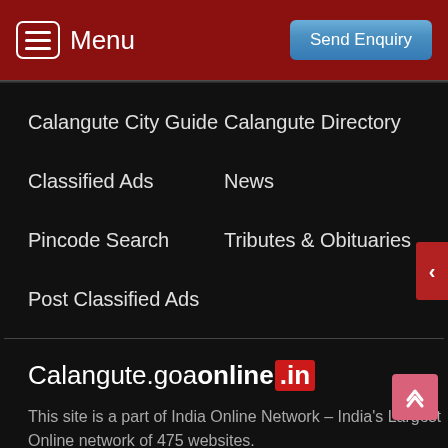Menu | Send Enquiry
Calangute City Guide
Calangute Directory
Classified Ads
News
Pincode Search
Tributes & Obituaries
Post Classified Ads
Calangute.goaonline.in
This site is a part of India Online Network – India's Largest Online network of 475 websites.
Read More About calangute.Goaonline.in
🌐 Goa Online Network